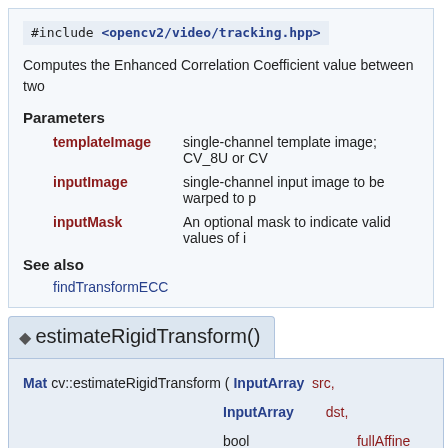#include <opencv2/video/tracking.hpp>
Computes the Enhanced Correlation Coefficient value between two
Parameters
templateImage – single-channel template image; CV_8U or CV_...
inputImage – single-channel input image to be warped to p...
inputMask – An optional mask to indicate valid values of i...
See also
findTransformECC
estimateRigidTransform()
Mat cv::estimateRigidTransform ( InputArray src, InputArray dst, bool fullAffine
)